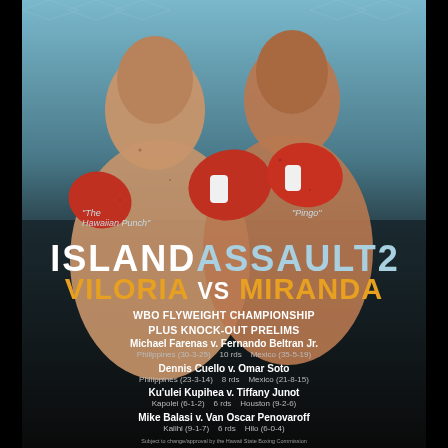[Figure (photo): Two male boxers in fighting stance wearing red boxing gloves, posed against a light blue textured background. Left fighter labeled 'The Hawaiian Punch', right fighter labeled 'Pingo'.]
ISLAND ASSAULT 2
VILORIA vs MIRANDA
WBO FLYWEIGHT CHAMPIONSHIP
PLUS KNOCK-OUT PRELIMS
Michael Farenas v. Fernando Beltran Jr.
Philippines (30-3-25)   10 rds   Mexico (35-5-19)
Dennis Cuello v. Omar Soto
Philippines (23-3-14)   8 rds   Mexico (21-8-15)
Ku'ulei Kupihea v. Tiffany Junot
Kapolei (6-1-2)   6 rds   Houston (9-2-6)
Mike Balasi v. Van Oscar Penovaroff
Kalihi (9-1-7)   6 rds   Hilo (6-0-4)
Subject to change/approval by the Hawaii State Boxing Commission